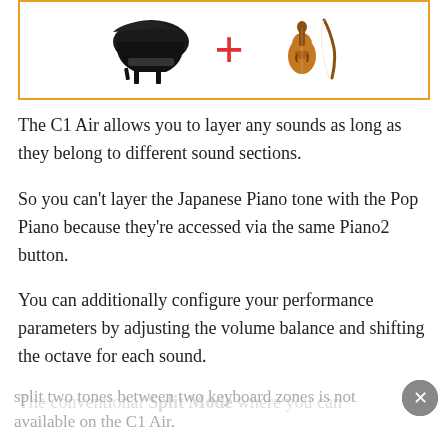[Figure (illustration): A grand piano and a violin bow/violin separated by a red plus sign, inside an orange-bordered rectangle. Illustrates layering two different instrument sounds.]
The C1 Air allows you to layer any sounds as long as they belong to different sound sections.
So you can't layer the Japanese Piano tone with the Pop Piano because they're accessed via the same Piano2 button.
You can additionally configure your performance parameters by adjusting the volume balance and shifting the octave for each sound.
The conventional Split Mode where you can split two tones between two keyboard zones is not available on the C1 Air.